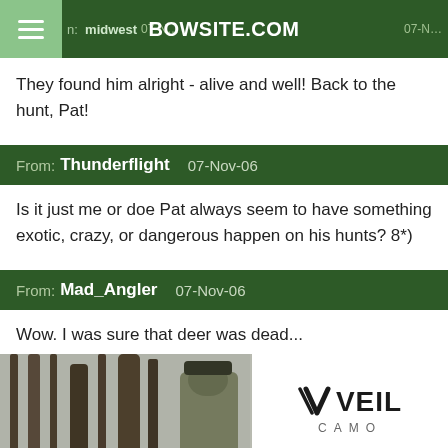BOWSITE.COM | midwest | 07-Nov
They found him alright - alive and well! Back to the hunt, Pat!
From: Thunderflight  07-Nov-06
Is it just me or doe Pat always seem to have something exotic, crazy, or dangerous happen on his hunts? 8*)
From: Mad_Angler  07-Nov-06
Wow. I was sure that deer was dead...
[Figure (photo): Advertisement showing a hunter in camouflage on a tree stand in a wooded winter scene, with VEIL CAMO logo and text UNVEIL YOUR CHAOS on the right side]